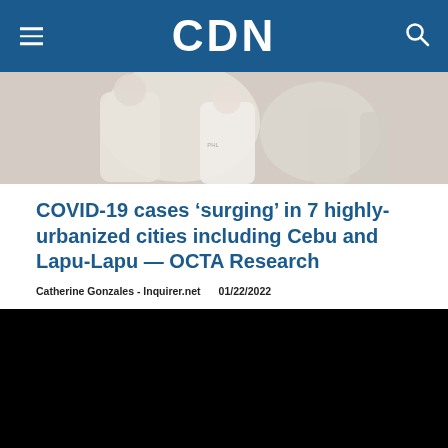CDN
[Figure (photo): Photo of people at what appears to be an outdoor medical/vaccination area, partially visible]
COVID-19 cases ‘surging’ in 7 highly-urbanized cities including Cebu and Lapu-Lapu — OCTA Research
Catherine Gonzales - Inquirer.net   01/22/2022
[Figure (screenshot): Black video player area, video not loaded]